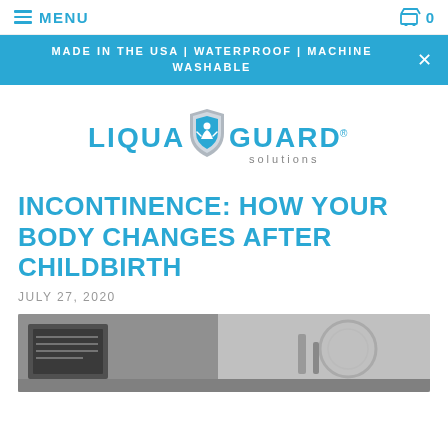MENU | Cart 0
MADE IN THE USA | WATERPROOF | MACHINE WASHABLE
[Figure (logo): Liqua Guard Solutions logo with shield emblem]
INCONTINENCE: HOW YOUR BODY CHANGES AFTER CHILDBIRTH
JULY 27, 2020
[Figure (photo): Black and white photo showing medical/laboratory equipment]